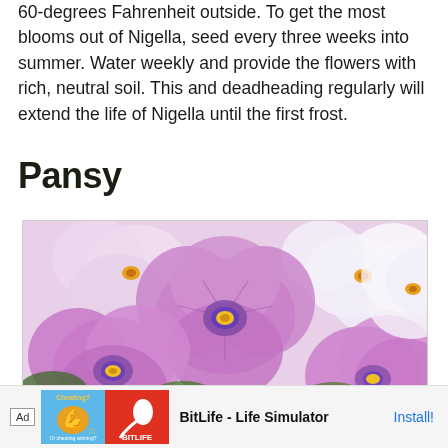60-degrees Fahrenheit outside. To get the most blooms out of Nigella, seed every three weeks into summer. Water weekly and provide the flowers with rich, neutral soil. This and deadheading regularly will extend the life of Nigella until the first frost.
Pansy
[Figure (photo): Close-up photograph of pink and white pansy flowers with purple centers and yellow accents, surrounded by green foliage]
[Figure (other): Advertisement bar: Ad label, BitLife app icon in blue/red boxes, text 'BitLife - Life Simulator', Install button]